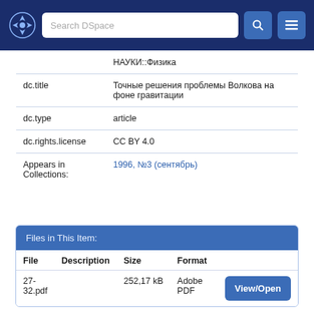[Figure (screenshot): DSpace repository navigation bar with logo, search box, search button, and menu button]
|  | НАУКИ::Физика |
| dc.title | Точные решения проблемы Волкова на фоне гравитации |
| dc.type | article |
| dc.rights.license | CC BY 4.0 |
| Appears in Collections: | 1996, №3 (сентябрь) |
Files in This Item:
| File | Description | Size | Format |  |
| --- | --- | --- | --- | --- |
| 27-32.pdf |  | 252,17 kB | Adobe PDF | View/Open |